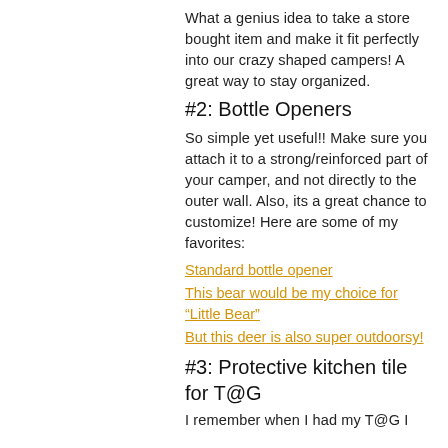What a genius idea to take a store bought item and make it fit perfectly into our crazy shaped campers! A great way to stay organized.
#2: Bottle Openers
So simple yet useful!! Make sure you attach it to a strong/reinforced part of your camper, and not directly to the outer wall. Also, its a great chance to customize! Here are some of my favorites:
Standard bottle opener
This bear would be my choice for “Little Bear”
But this deer is also super outdoorsy!
#3: Protective kitchen tile for T@G
I remember when I had my T@G I